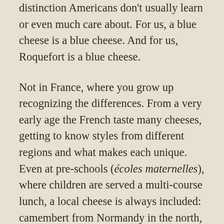distinction Americans don't usually learn or even much care about. For us, a blue cheese is a blue cheese. And for us, Roquefort is a blue cheese.
Not in France, where you grow up recognizing the differences. From a very early age the French taste many cheeses, getting to know styles from different regions and what makes each unique. Even at pre-schools (écoles maternelles), where children are served a multi-course lunch, a local cheese is always included: camembert from Normandy in the north, Roquefort from Aveyron in the south, comté from Franche-Comté in the east.
As for comté, I look for ones that have been